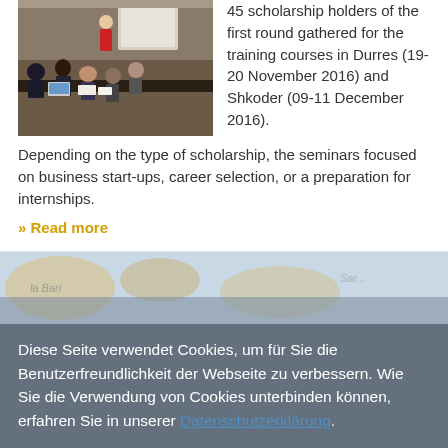[Figure (photo): Group of people seated at tables in a training/conference room, viewed from the side, with a presenter and projection screen at the front.]
45 scholarship holders of the first round gathered for the training courses in Durres (19-20 November 2016) and Shkoder (09-11 December 2016). Depending on the type of scholarship, the seminars focused on business start-ups, career selection, or a preparation for internships.
» Read more
[Figure (map): Partial map background image showing geographic region.]
Diese Seite verwendet Cookies, um für Sie die Benutzerfreundlichkeit der Webseite zu verbessern. Wie Sie die Verwendung von Cookies unterbinden können, erfahren Sie in unserer Datenschutzerklärung.
Wenn Sie diese Webseite weiter nutzen, erklären Sie sich mit der Verwendung von Cookies einverstanden.